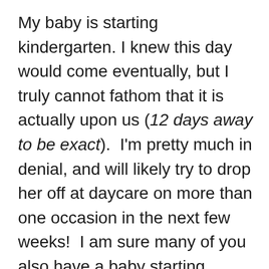My baby is starting kindergarten. I knew this day would come eventually, but I truly cannot fathom that it is actually upon us (12 days away to be exact).  I'm pretty much in denial, and will likely try to drop her off at daycare on more than one occasion in the next few weeks!  I am sure many of you also have a baby starting kindergarten (or maybe high school or college), and likely are having many of the same thoughts.  I don't normally share this much of my heart on the blog, but this is a milestone that I can't seem to shake. There are many blogs I follow, and I love when I read posts that